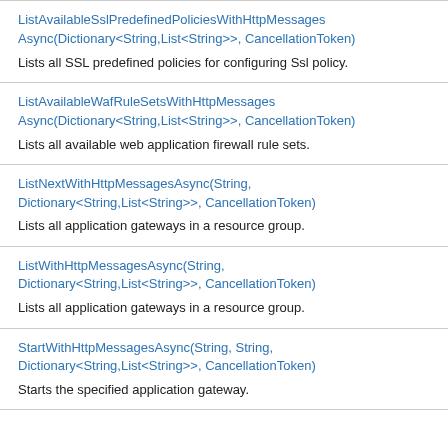ListAvailableSslPredefinedPoliciesWithHttpMessagesAsync(Dictionary<String,List<String>>, CancellationToken)
Lists all SSL predefined policies for configuring Ssl policy.
ListAvailableWafRuleSetsWithHttpMessagesAsync(Dictionary<String,List<String>>, CancellationToken)
Lists all available web application firewall rule sets.
ListNextWithHttpMessagesAsync(String, Dictionary<String,List<String>>, CancellationToken)
Lists all application gateways in a resource group.
ListWithHttpMessagesAsync(String, Dictionary<String,List<String>>, CancellationToken)
Lists all application gateways in a resource group.
StartWithHttpMessagesAsync(String, String, Dictionary<String,List<String>>, CancellationToken)
Starts the specified application gateway.